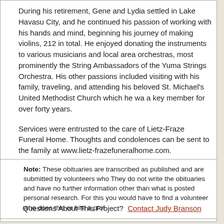During his retirement, Gene and Lydia settled in Lake Havasu City, and he continued his passion of working with his hands and mind, beginning his journey of making violins, 212 in total. He enjoyed donating the instruments to various musicians and local area orchestras, most prominently the String Ambassadors of the Yuma Strings Orchestra. His other passions included visiting with his family, traveling, and attending his beloved St. Michael's United Methodist Church which he was a key member for over forty years.
Services were entrusted to the care of Lietz-Fraze Funeral Home. Thoughts and condolences can be sent to the family at www.lietz-frazefuneralhome.com.
To send a free card go to www.sendoutcards.com/lietzfraze.
See Also: Find A Grave
Note: These obituaries are transcribed as published and are submitted by volunteers who They do not write the obituaries and have no further information other than what is posted personal research. For this you would have to find a volunteer who does this or hire a prof
Questions About This Project?  Contact Judy Branson